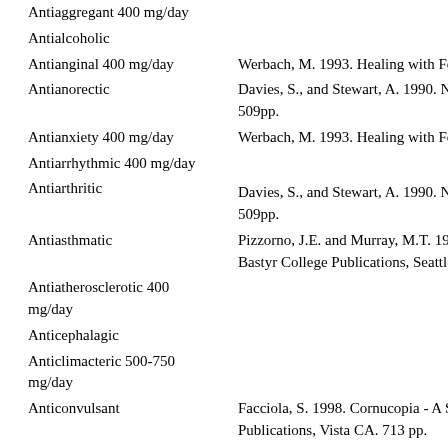Antiaggregant 400 mg/day
Antialcoholic
Antianginal 400 mg/day
Werbach, M. 1993. Healing with Foo...
Antianorectic
Davies, S., and Stewart, A. 1990. Nu... 509pp.
Antianxiety 400 mg/day
Werbach, M. 1993. Healing with Foo...
Antiarrhythmic 400 mg/day
Antiarthritic
Davies, S., and Stewart, A. 1990. Nu... 509pp.
Antiasthmatic
Pizzorno, J.E. and Murray, M.T. 198... Bastyr College Publications, Seattle,
Antiatherosclerotic 400 mg/day
Anticephalagic
Anticlimacteric 500-750 mg/day
Anticonvulsant
Facciola, S. 1998. Cornucopia - A So... Publications, Vista CA. 713 pp.
Anticoronary 400 mg/day
Challem, J., Berkson, Burt, and Smit... complete nutritional program to prev... Wiley & Sons, New York. 272 pp. $2...
Davies, S., and Stewart, A. 1990. Nu...